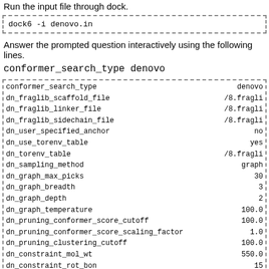Run the input file through dock.
dock6 -i denovo.in
Answer the prompted question interactively using the following lines.
conformer_search_type denovo
| parameter | value |
| --- | --- |
| conformer_search_type | denovo |
| dn_fraglib_scaffold_file | /8.fragli |
| dn_fraglib_linker_file | /8.fragli |
| dn_fraglib_sidechain_file | /8.fragli |
| dn_user_specified_anchor | no |
| dn_use_torenv_table | yes |
| dn_torenv_table | /8.fragli |
| dn_sampling_method | graph |
| dn_graph_max_picks | 30 |
| dn_graph_breadth | 3 |
| dn_graph_depth | 2 |
| dn_graph_temperature | 100.0 |
| dn_pruning_conformer_score_cutoff | 100.0 |
| dn_pruning_conformer_score_scaling_factor | 1.0 |
| dn_pruning_clustering_cutoff | 100.0 |
| dn_constraint_mol_wt | 550.0 |
| dn_constraint_rot_bon | 15 |
| dn_constraint_formal_charge | 2.0 |
| dn_heur_unmatched_num | 1 |
| dn_heur_matched_rmsd | 2.0 |
| dn_unique_anchors | 2 |
| dn_max_grow_layers | 9 |
| dn_max_root_size | 25 |
| dn_max_layer_size | 25 |